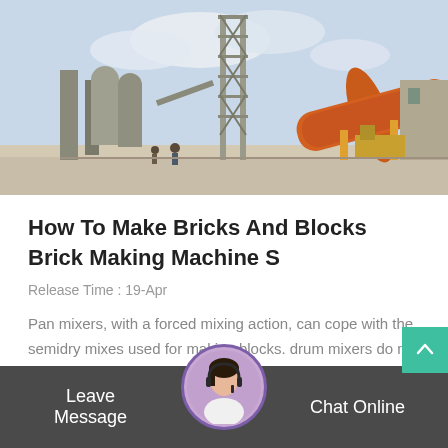[Figure (photo): Industrial brick-making facility with large orange rotary drum/kiln, metal scaffolding tower, construction equipment and workers on a dusty outdoor site under a partly cloudy sky.]
How To Make Bricks And Blocks Brick Making Machine S
Release Time : 19-Apr
Pan mixers, with a forced mixing action, can cope with the semidry mixes used for making blocks. drum mixers do not work because they cannot mix...
Leave Message
Chat Online